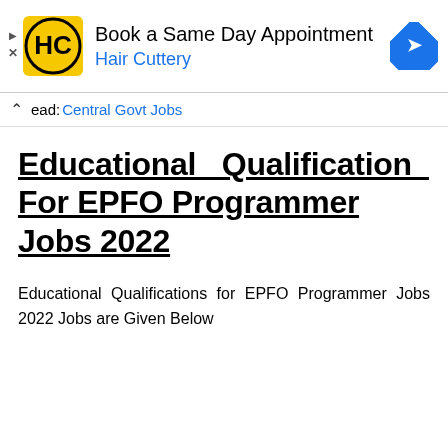[Figure (screenshot): Advertisement banner for Hair Cuttery with logo, text 'Book a Same Day Appointment', 'Hair Cuttery', and a blue navigation arrow icon]
ead: Central Govt Jobs
Educational Qualification For EPFO Programmer Jobs 2022
Educational Qualifications for EPFO Programmer Jobs 2022 Jobs are Given Below